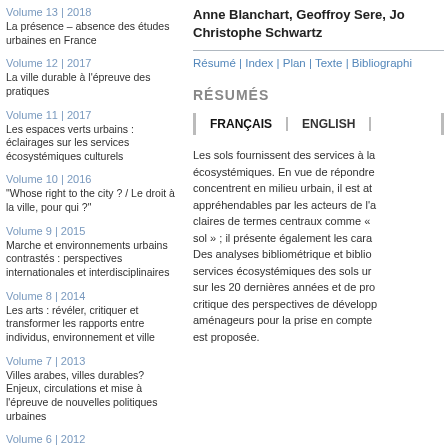Volume 13 | 2018
La présence – absence des études urbaines en France
Volume 12 | 2017
La ville durable à l'épreuve des pratiques
Volume 11 | 2017
Les espaces verts urbains : éclairages sur les services écosystémiques culturels
Volume 10 | 2016
"Whose right to the city ? / Le droit à la ville, pour qui ?"
Volume 9 | 2015
Marche et environnements urbains contrastés : perspectives internationales et interdisciplinaires
Volume 8 | 2014
Les arts : révéler, critiquer et transformer les rapports entre individus, environnement et ville
Volume 7 | 2013
Villes arabes, villes durables? Enjeux, circulations et mise à l'épreuve de nouvelles politiques urbaines
Volume 6 | 2012
Les défis et les perspectives de l'agriculture urbaine
Anne Blanchart, Geoffroy Sere, Jo... Christophe Schwartz
Résumé | Index | Plan | Texte | Bibliographi...
RÉSUMÉS
FRANÇAIS  |  ENGLISH  |
Les sols fournissent des services à la... écosystémiques. En vue de répondre... concentrent en milieu urbain, il est at... appréhendables par les acteurs de l'a... claires de termes centraux comme «... sol » ; il présente également les cara... Des analyses bibliométrique et biblio... services écosystémiques des sols ur... sur les 20 dernières années et de pro... critique des perspectives de développ... aménageurs pour la prise en compte... est proposée.